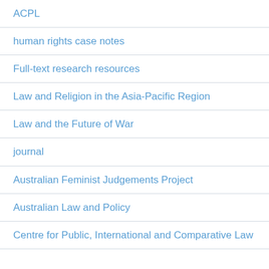ACPL
human rights case notes
Full-text research resources
Law and Religion in the Asia-Pacific Region
Law and the Future of War
journal
Australian Feminist Judgements Project
Australian Law and Policy
Centre for Public, International and Comparative Law